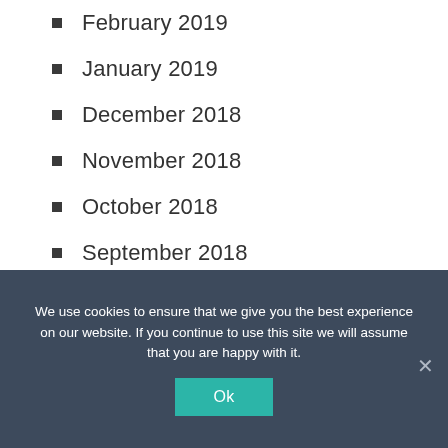February 2019
January 2019
December 2018
November 2018
October 2018
September 2018
August 2018
July 2018
We use cookies to ensure that we give you the best experience on our website. If you continue to use this site we will assume that you are happy with it.
Ok